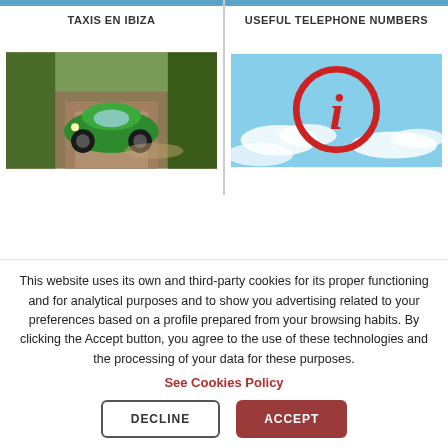TAXIS EN IBIZA
[Figure (photo): Green vintage Citroën 2CV driving on a dusty dirt road surrounded by trees]
USEFUL TELEPHONE NUMBERS
[Figure (photo): Red 3D information (i) icon in a circle against a blue sky with clouds]
This website uses its own and third-party cookies for its proper functioning and for analytical purposes and to show you advertising related to your preferences based on a profile prepared from your browsing habits. By clicking the Accept button, you agree to the use of these technologies and the processing of your data for these purposes.
See Cookies Policy
DECLINE
ACCEPT